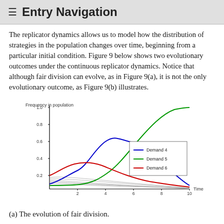≡ Entry Navigation
The replicator dynamics allows us to model how the distribution of strategies in the population changes over time, beginning from a particular initial condition. Figure 9 below shows two evolutionary outcomes under the continuous replicator dynamics. Notice that although fair division can evolve, as in Figure 9(a), it is not the only evolutionary outcome, as Figure 9(b) illustrates.
[Figure (continuous-plot): Line chart showing frequency in population (y-axis 0 to 1.0) over Time (x-axis 0 to 10) for multiple demand strategies. Demand 4 (blue) rises to ~0.55 then declines. Demand 5 (green) rises sigmoidally to ~1.0. Demand 6 (red) rises to ~0.25 then declines. Several gray lines show other demands declining to near zero.]
(a) The evolution of fair division.